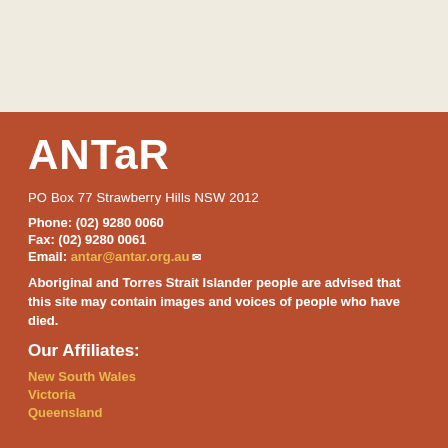[Figure (other): Beige/cream textured background top section]
ANTaR
PO Box 77 Strawberry Hills NSW 2012
Phone: (02) 9280 0060
Fax: (02) 9280 0061
Email: antar@antar.org.au
Aboriginal and Torres Strait Islander people are advised that this site may contain images and voices of people who have died.
Our Affiliates:
New South Wales
Victoria
Queensland